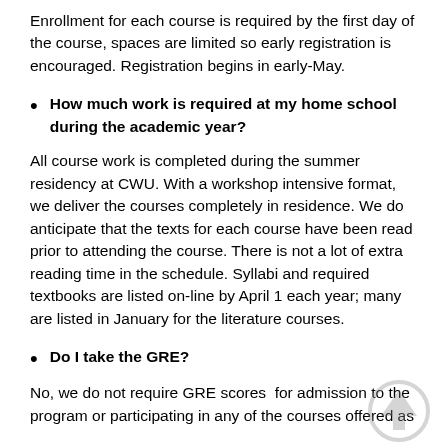Enrollment for each course is required by the first day of the course, spaces are limited so early registration is encouraged. Registration begins in early-May.
How much work is required at my home school during the academic year?
All course work is completed during the summer residency at CWU. With a workshop intensive format, we deliver the courses completely in residence. We do anticipate that the texts for each course have been read prior to attending the course. There is not a lot of extra reading time in the schedule. Syllabi and required textbooks are listed on-line by April 1 each year; many are listed in January for the literature courses.
Do I take the GRE?
No, we do not require GRE scores  for admission to the program or participating in any of the courses offered as